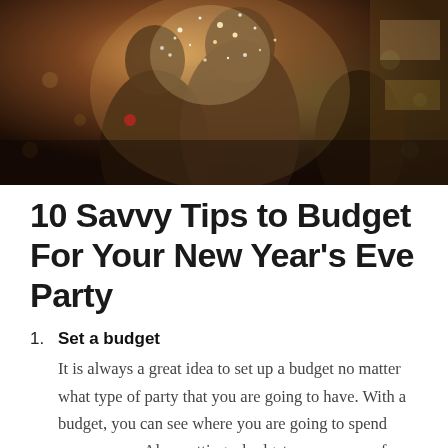[Figure (photo): People celebrating New Year's Eve outdoors, one person throwing confetti/sparkles, warm bokeh lights in background]
10 Savvy Tips to Budget For Your New Year's Eve Party
Set a budget
It is always a great idea to set up a budget no matter what type of party that you are going to have. With a budget, you can see where you are going to spend your money. Also, setting a budget can save you from overspending. Here are some of the expenses that you may want to consider when throwing a